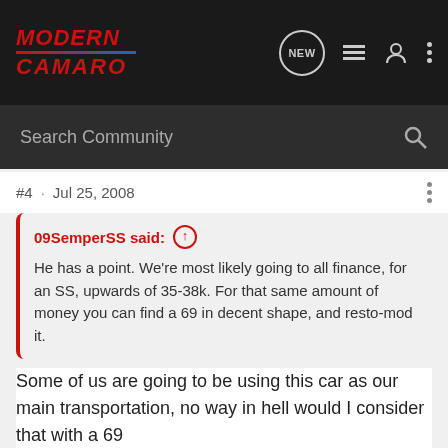Modern Camaro - Navigation bar with search
#4 · Jul 25, 2008
09SemperSS said: ↑
He has a point. We're most likely going to all finance, for an SS, upwards of 35-38k. For that same amount of money you can find a 69 in decent shape, and resto-mod it.
Some of us are going to be using this car as our main transportation, no way in hell would I consider that with a 69
OctaneZ28 · Premium Member 🇺🇸
2001 Camaro Z28